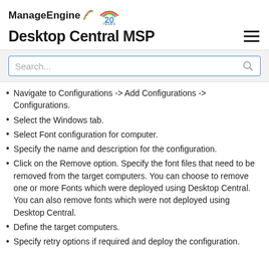ManageEngine 20 YEARS
Desktop Central MSP
Search...
Navigate to Configurations -> Add Configurations -> Configurations.
Select the Windows tab.
Select Font configuration for computer.
Specify the name and description for the configuration.
Click on the Remove option. Specify the font files that need to be removed from the target computers. You can choose to remove one or more Fonts which were deployed using Desktop Central. You can also remove fonts which were not deployed using Desktop Central.
Define the target computers.
Specify retry options if required and deploy the configuration.